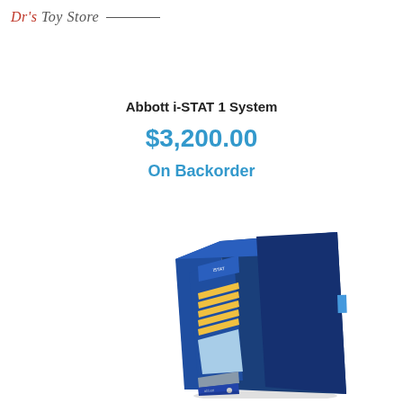Dr's Toy Store
Abbott i-STAT 1 System
$3,200.00
On Backorder
[Figure (photo): Abbott i-STAT 1 handheld medical device, blue casing, shown at an angle with a display screen and cartridge slot visible]